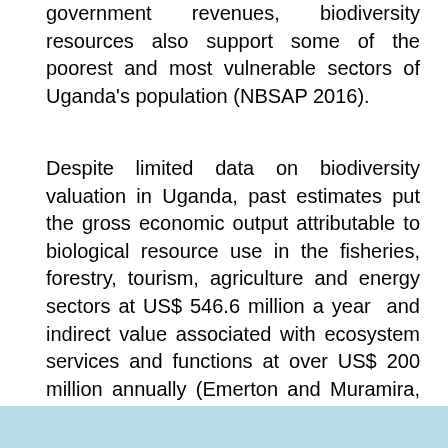government revenues, biodiversity resources also support some of the poorest and most vulnerable sectors of Uganda's population (NBSAP 2016).
Despite limited data on biodiversity valuation in Uganda, past estimates put the gross economic output attributable to biological resource use in the fisheries, forestry, tourism, agriculture and energy sectors at US$ 546.6 million a year and indirect value associated with ecosystem services and functions at over US$ 200 million annually (Emerton and Muramira, 1999).
The continued loss and degradation of Uganda's biodiversity, therefore, present a serious challenge to its society and the national economy.